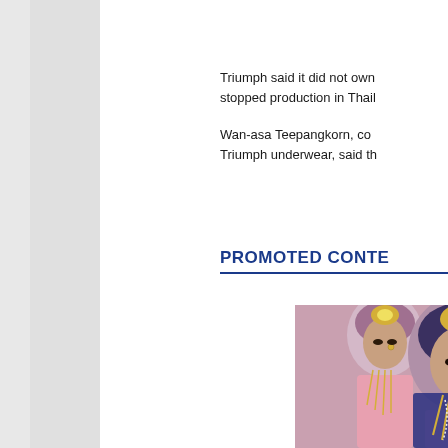Triumph said it did not own stopped production in Thail
Wan-asa Teepangkorn, co Triumph underwear, said th
PROMOTED CONTE
[Figure (photo): Two women dressed in traditional South Asian bridal attire with elaborate jewelry, veils and colorful pink and blue garments]